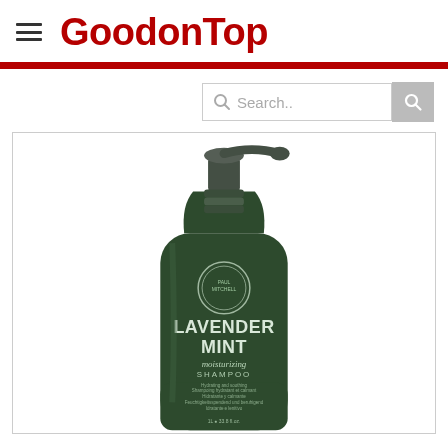GoodonTop
[Figure (screenshot): Search bar with magnifying glass icon and gray search button on the right side of the page]
[Figure (photo): Dark green pump bottle of Paul Mitchell Lavender Mint Moisturizing Shampoo, 1L / 33.8 oz, with a pump dispenser at the top]